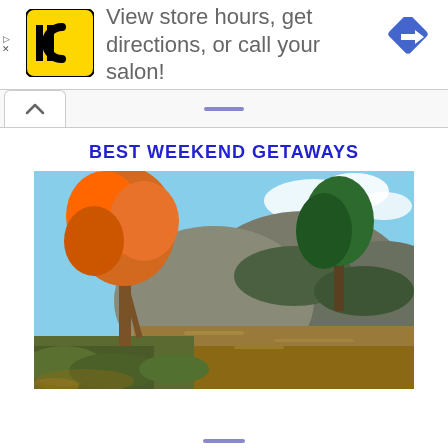[Figure (logo): HC (Hair Cuttery) yellow square logo with black HC lettering]
View store hours, get directions, or call your salon!
[Figure (illustration): Blue diamond-shaped navigation/directions icon with white arrow pointing right]
[Figure (photo): Scenic autumn landscape photo with orange and green trees beside a calm river with rocky hills in the background]
BEST WEEKEND GETAWAYS